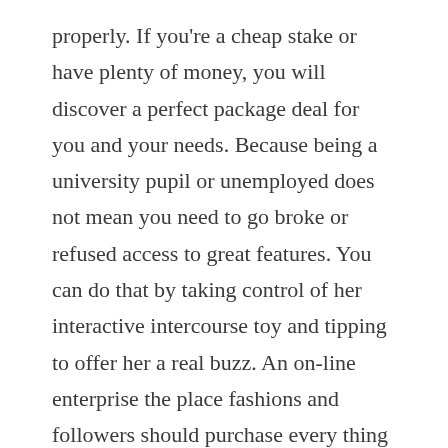properly. If you're a cheap stake or have plenty of money, you will discover a perfect package deal for you and your needs. Because being a university pupil or unemployed does not mean you need to go broke or refused access to great features. You can do that by taking control of her interactive intercourse toy and tipping to offer her a real buzz. An on-line enterprise the place fashions and followers should purchase every thing from swimwear, hoodies and crop tops to mugs, pillows and thongs all that includes the CamSoda logo. Another extra SFW method to make use of their platform and tech to reside stream occasions, CamSoda has been broadcasting every little thing from stand-up comedy and concerts to sporting events.

To sign up for CamSoda and start earning right now, click